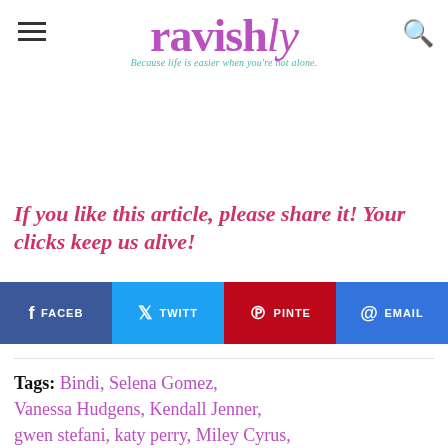ravishly — Because life is easier when you're not alone.
If you like this article, please share it! Your clicks keep us alive!
[Figure (infographic): Social share buttons: Facebook, Twitter, Pinterest, Email]
Tags: Bindi, Selena Gomez, Vanessa Hudgens, Kendall Jenner, gwen stefani, katy perry, Miley Cyrus, twerking, Cultural Appropriation